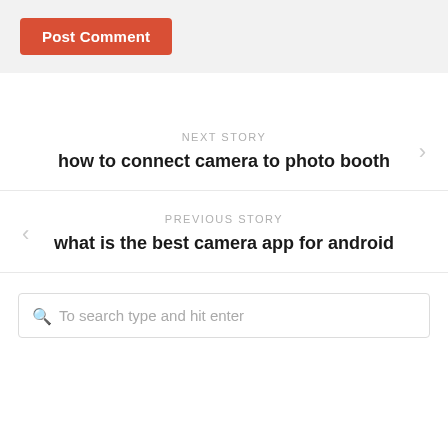[Figure (screenshot): Post Comment button — red/orange rounded rectangle with white bold text]
NEXT STORY
how to connect camera to photo booth
PREVIOUS STORY
what is the best camera app for android
To search type and hit enter